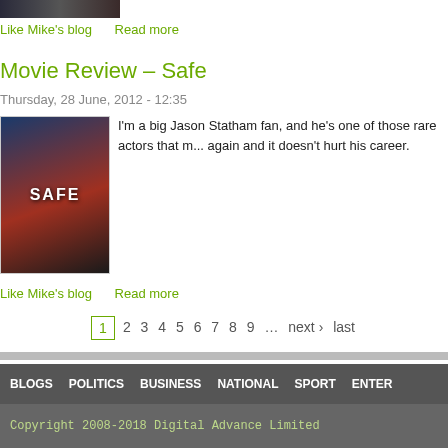[Figure (photo): Partial movie image cropped at top]
Like Mike's blog   Read more
Movie Review – Safe
Thursday, 28 June, 2012 - 12:35
[Figure (photo): Movie poster for 'Safe' featuring Jason Statham]
I'm a big Jason Statham fan, and he's one of those rare actors that m... again and it doesn't hurt his career.
Like Mike's blog   Read more
1 2 3 4 5 6 7 8 9 … next › last
BLOGS   POLITICS   BUSINESS   NATIONAL   SPORT   ENTER…
Copyright 2008-2018 Digital Advance Limited